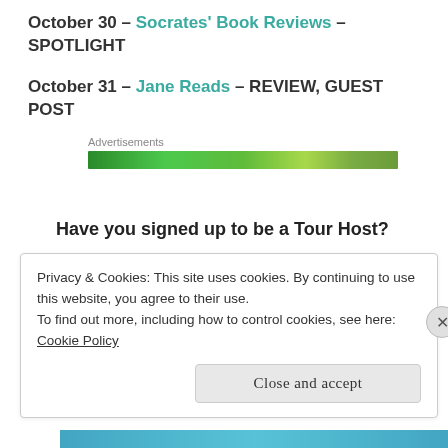October 30 – Socrates' Book Reviews – SPOTLIGHT
October 31 – Jane Reads – REVIEW, GUEST POST
Advertisements
[Figure (other): Green advertisement banner bar]
Have you signed up to be a Tour Host?
Privacy & Cookies: This site uses cookies. By continuing to use this website, you agree to their use. To find out more, including how to control cookies, see here: Cookie Policy
Close and accept